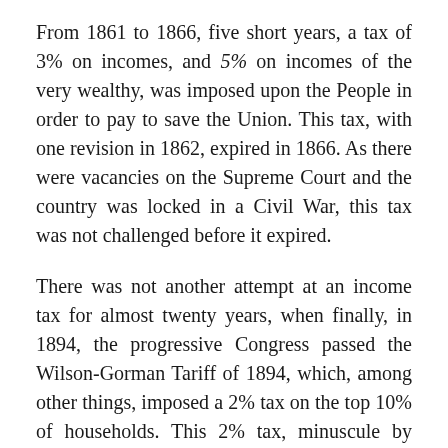From 1861 to 1866, five short years, a tax of 3% on incomes, and 5% on incomes of the very wealthy, was imposed upon the People in order to pay to save the Union. This tax, with one revision in 1862, expired in 1866. As there were vacancies on the Supreme Court and the country was locked in a Civil War, this tax was not challenged before it expired.
There was not another attempt at an income tax for almost twenty years, when finally, in 1894, the progressive Congress passed the Wilson-Gorman Tariff of 1894, which, among other things, imposed a 2% tax on the top 10% of households. This 2% tax, minuscule by today's standards, was struck down as unconstitutional by the Supreme Court in 1895, in the case of Pollock v. Farmers' Loan & Trust